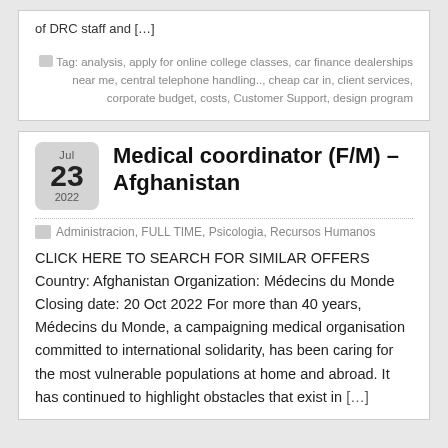of DRC staff and […]
Tag: analysis, apply for online college classes, car finance dealerships near me, central telephone handling.., cheap car in, client services, corporate budget, costs, Customer Support, design program
Medical coordinator (F/M) – Afghanistan
Administracion, FULL TIME, Psicologia, Recursos Humanos
CLICK HERE TO SEARCH FOR SIMILAR OFFERS Country: Afghanistan Organization: Médecins du Monde Closing date: 20 Oct 2022 For more than 40 years, Médecins du Monde, a campaigning medical organisation committed to international solidarity, has been caring for the most vulnerable populations at home and abroad. It has continued to highlight obstacles that exist in […]